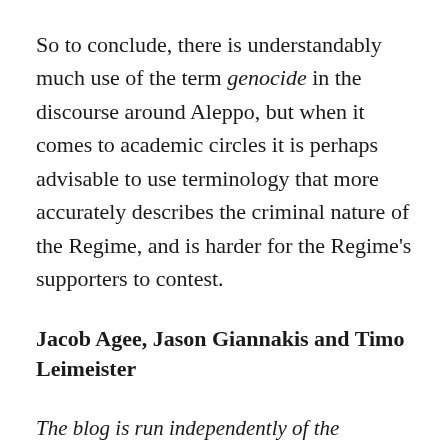So to conclude, there is understandably much use of the term genocide in the discourse around Aleppo, but when it comes to academic circles it is perhaps advisable to use terminology that more accurately describes the criminal nature of the Regime, and is harder for the Regime's supporters to contest.
Jacob Agee, Jason Giannakis and Timo Leimeister
The blog is run independently of the Department of Peace and Conflict Research in Uppsala. The Pax et Bellum Editorial Board oversees and approves the publication of all posts, but the content reflects the authors' own perspectives and opinions.